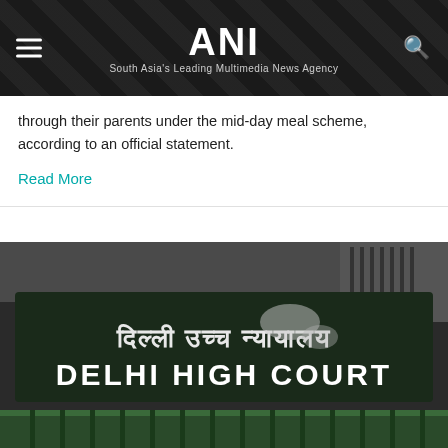ANI — South Asia's Leading Multimedia News Agency
through their parents under the mid-day meal scheme, according to an official statement.
Read More
[Figure (photo): Delhi High Court signboard showing Hindi text 'दिल्ली उच्च न्यायालय' above English 'DELHI HIGH COURT' in white letters on a dark background with green metal fence]